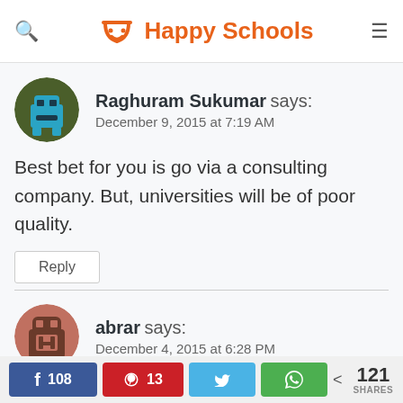Happy Schools
Raghuram Sukumar says:
December 9, 2015 at 7:19 AM
Best bet for you is go via a consulting company. But, universities will be of poor quality.
Reply
abrar says:
December 4, 2015 at 6:28 PM
f 108  ⊕ 13  🐦  WhatsApp  < 121 SHARES